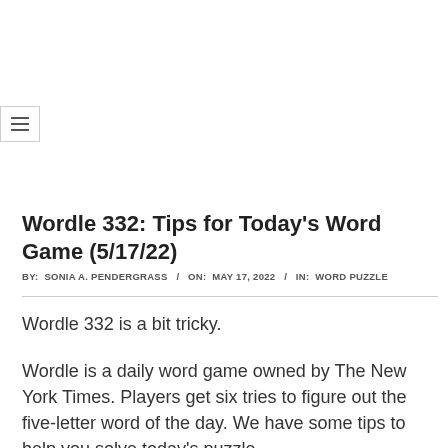[Figure (other): Hamburger menu button icon with three horizontal lines inside a bordered box]
Wordle 332: Tips for Today's Word Game (5/17/22)
BY: SONIA A. PENDERGRASS / ON: MAY 17, 2022 / IN: WORD PUZZLE
Wordle 332 is a bit tricky.
Wordle is a daily word game owned by The New York Times. Players get six tries to figure out the five-letter word of the day. We have some tips to help you solve today's puzzle.